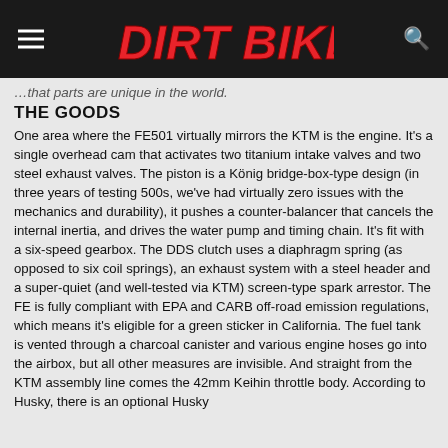DIRT BIKE
…that parts are unique in the world.
THE GOODS
One area where the FE501 virtually mirrors the KTM is the engine. It's a single overhead cam that activates two titanium intake valves and two steel exhaust valves. The piston is a König bridge-box-type design (in three years of testing 500s, we've had virtually zero issues with the mechanics and durability), it pushes a counter-balancer that cancels the internal inertia, and drives the water pump and timing chain. It's fit with a six-speed gearbox. The DDS clutch uses a diaphragm spring (as opposed to six coil springs), an exhaust system with a steel header and a super-quiet (and well-tested via KTM) screen-type spark arrestor. The FE is fully compliant with EPA and CARB off-road emission regulations, which means it's eligible for a green sticker in California. The fuel tank is vented through a charcoal canister and various engine hoses go into the airbox, but all other measures are invisible. And straight from the KTM assembly line comes the 42mm Keihin throttle body. According to Husky, there is an optional Husky